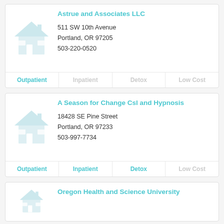Astrue and Associates LLC
511 SW 10th Avenue
Portland, OR 97205
503-220-0520
| Outpatient | Inpatient | Detox | Low Cost |
| --- | --- | --- | --- |
| Outpatient (active) | Inpatient | Detox | Low Cost |
A Season for Change Csl and Hypnosis
18428 SE Pine Street
Portland, OR 97233
503-997-7734
| Outpatient | Inpatient | Detox | Low Cost |
| --- | --- | --- | --- |
| Outpatient (active) | Inpatient (active) | Detox (active) | Low Cost |
Oregon Health and Science University